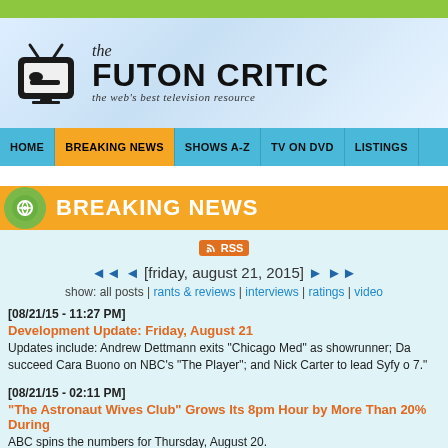[Figure (logo): The Futon Critic website header with TV logo icon and site title]
HOME | BREAKING NEWS | SHOWS A-Z | TV ON DVD | LISTINGS
BREAKING NEWS
RSS
[friday, august 21, 2015]
show: all posts | rants & reviews | interviews | ratings | video
[08/21/15 - 11:27 PM]
Development Update: Friday, August 21
Updates include: Andrew Dettmann exits "Chicago Med" as showrunner; Da succeed Cara Buono on NBC's "The Player"; and Nick Carter to lead Syfy o 7."
[08/21/15 - 02:11 PM]
"The Astronaut Wives Club" Grows Its 8pm Hour by More Than 20% During
ABC spins the numbers for Thursday, August 20.